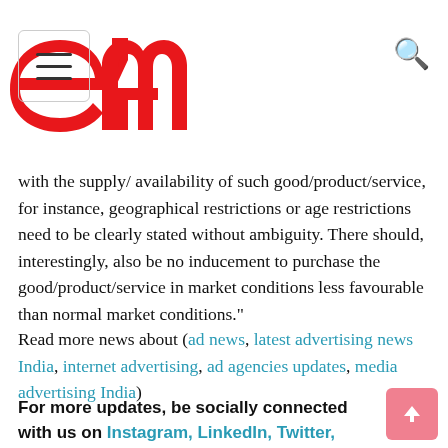e4m logo with hamburger menu and search icon
with the supply/ availability of such good/product/service, for instance, geographical restrictions or age restrictions need to be clearly stated without ambiguity. There should, interestingly, also be no inducement to purchase the good/product/service in market conditions less favourable than normal market conditions.”
Read more news about (ad news, latest advertising news India, internet advertising, ad agencies updates, media advertising India)
For more updates, be socially connected with us on Instagram, LinkedIn, Twitter, Facebook & Youtube